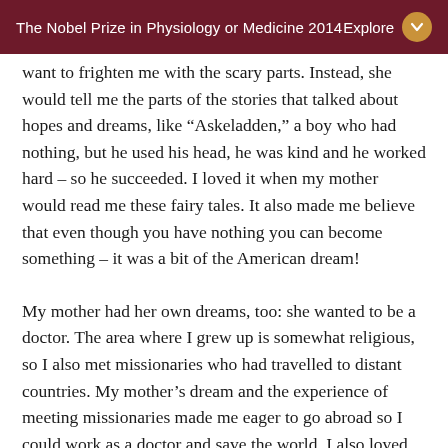The Nobel Prize in Physiology or Medicine 2014   Explore
want to frighten me with the scary parts. Instead, she would tell me the parts of the stories that talked about hopes and dreams, like “Askeladden,” a boy who had nothing, but he used his head, he was kind and he worked hard – so he succeeded. I loved it when my mother would read me these fairy tales. It also made me believe that even though you have nothing you can become something – it was a bit of the American dream!
My mother had her own dreams, too: she wanted to be a doctor. The area where I grew up is somewhat religious, so I also met missionaries who had travelled to distant countries. My mother’s dream and the experience of meeting missionaries made me eager to go abroad so I could work as a doctor and save the world. I also loved animals, so I